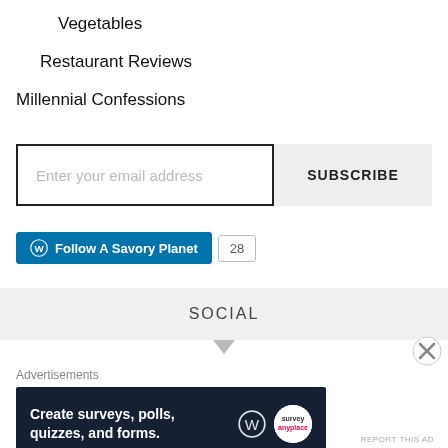Vegetables
Restaurant Reviews
Millennial Confessions
Enter your email address
SUBSCRIBE
[Figure (infographic): Follow A Savory Planet WordPress follow button with count badge showing 28]
SOCIAL
Advertisements
[Figure (infographic): Dark blue ad banner: Create surveys, polls, quizzes, and forms. With WordPress and Survey Anyplace logos.]
REPORT THIS AD